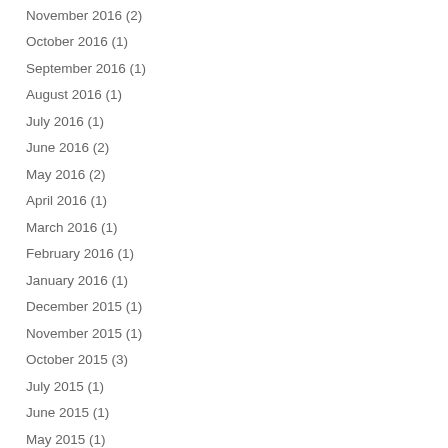November 2016 (2)
October 2016 (1)
September 2016 (1)
August 2016 (1)
July 2016 (1)
June 2016 (2)
May 2016 (2)
April 2016 (1)
March 2016 (1)
February 2016 (1)
January 2016 (1)
December 2015 (1)
November 2015 (1)
October 2015 (3)
July 2015 (1)
June 2015 (1)
May 2015 (1)
April 2015 (1)
March 2015 (3)